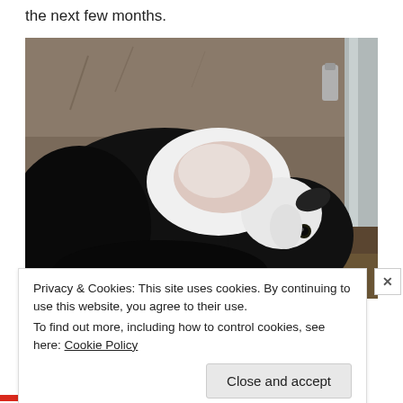the next few months.
[Figure (photo): A black and white calf or young cow photographed in what appears to be a barn or pen setting. The animal has a predominantly black body with white patches on its head and back area.]
Privacy & Cookies: This site uses cookies. By continuing to use this website, you agree to their use.
To find out more, including how to control cookies, see here: Cookie Policy
Close and accept